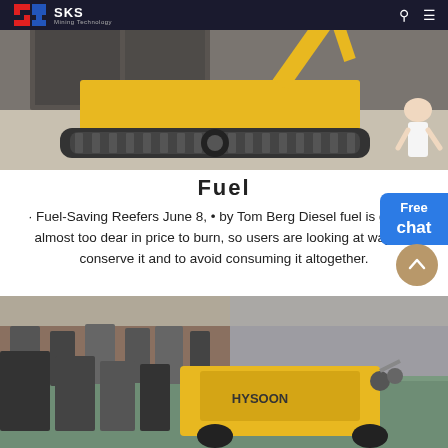SKS Mining Technology
[Figure (photo): Yellow tracked mining/construction machine photographed in an outdoor yard, rear view showing undercarriage and crawler tracks on a flat surface. A person in white stands at the right edge.]
Fuel
· Fuel-Saving Reefers June 8, • by Tom Berg Diesel fuel is getting almost too dear in price to burn, so users are looking at ways to conserve it and to avoid consuming it altogether.
[Figure (photo): Interior of a large industrial warehouse/factory floor showing yellow HYSOON branded drilling or mining equipment and other heavy machinery lined up inside the facility.]